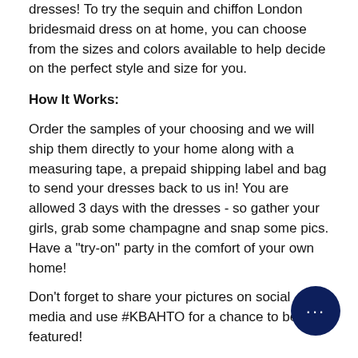dresses! To try the sequin and chiffon London bridesmaid dress on at home, you can choose from the sizes and colors available to help decide on the perfect style and size for you.
How It Works:
Order the samples of your choosing and we will ship them directly to your home along with a measuring tape, a prepaid shipping label and bag to send your dresses back to us in! You are allowed 3 days with the dresses - so gather your girls, grab some champagne and snap some pics. Have a "try-on" party in the comfort of your own home!
Don't forget to share your pictures on social media and use #KBAHTO for a chance to be featured!
Please note that the samples listed on this page are the only colors and sizes we have available in our sample stock. The selected color and size are also not guaranteed.
We recommend ordering your sample in the size closest to your typical dress size. If that does not fit just the way you'd like, we